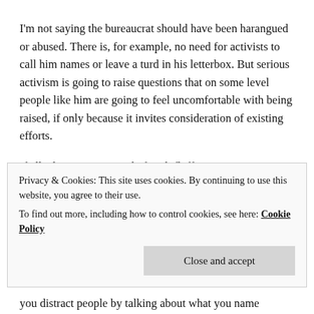I'm not saying the bureaucrat should have been harangued or abused. There is, for example, no need for activists to call him names or leave a turd in his letterbox. But serious activism is going to raise questions that on some level people like him are going to feel uncomfortable with being raised, if only because it invites consideration of existing efforts.
If all advocacy consisted of such fluff as was on
Privacy & Cookies: This site uses cookies. By continuing to use this website, you agree to their use.
To find out more, including how to control cookies, see here: Cookie Policy
Close and accept
you distract people by talking about what you name